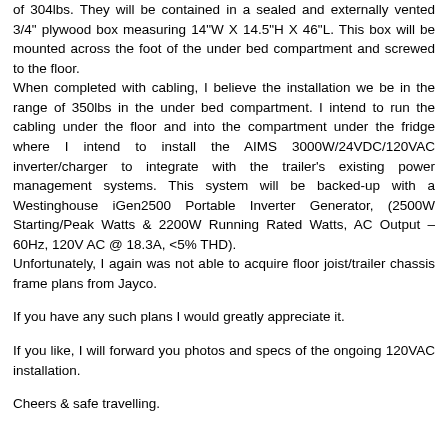of 304lbs. They will be contained in a sealed and externally vented 3/4" plywood box measuring 14"W X 14.5"H X 46"L. This box will be mounted across the foot of the under bed compartment and screwed to the floor.
When completed with cabling, I believe the installation we be in the range of 350lbs in the under bed compartment. I intend to run the cabling under the floor and into the compartment under the fridge where I intend to install the AIMS 3000W/24VDC/120VAC inverter/charger to integrate with the trailer's existing power management systems. This system will be backed-up with a Westinghouse iGen2500 Portable Inverter Generator, (2500W Starting/Peak Watts & 2200W Running Rated Watts, AC Output – 60Hz, 120V AC @ 18.3A, <5% THD).
Unfortunately, I again was not able to acquire floor joist/trailer chassis frame plans from Jayco.
If you have any such plans I would greatly appreciate it.
If you like, I will forward you photos and specs of the ongoing 120VAC installation.
Cheers & safe travelling.